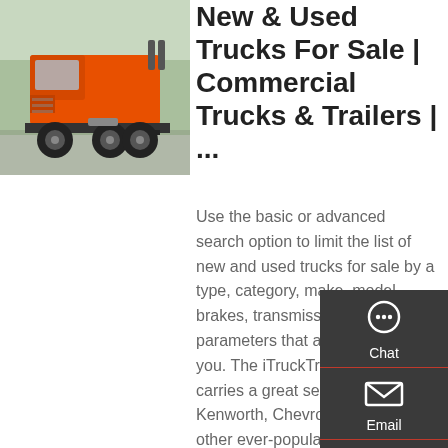[Figure (photo): Orange commercial truck / semi-truck tractor photographed from the rear-left angle in an outdoor lot]
New & Used Trucks For Sale | Commercial Trucks & Trailers | ...
Use the basic or advanced search option to limit the list of new and used trucks for sale by a type, category, make, model, brakes, transmission, and other parameters that are important to you. The iTruckTrader website carries a great selection of Ford, Kenworth, Chevrolet, Hino, and other ever-popular new and used trucks for sale conveniently listed for our buyers.
[Figure (infographic): Dark sidebar overlay with Chat (headset icon), Email (envelope icon), Contact (speech bubble icon), and Top (arrow icon) buttons]